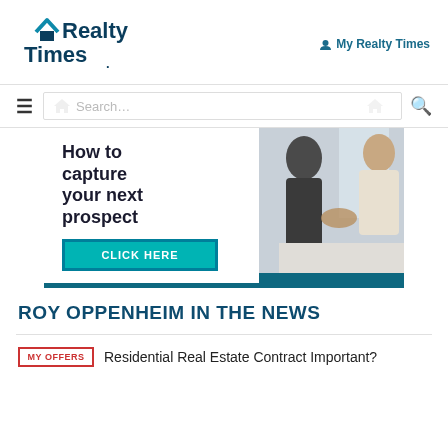[Figure (logo): Realty Times logo with blue house icon and bold dark blue text]
My Realty Times
[Figure (screenshot): Navigation bar with hamburger menu, search field, and search icon]
[Figure (photo): Advertisement banner: 'How to capture your next prospect' with CLICK HERE button and photo of two people shaking hands]
ROY OPPENHEIM IN THE NEWS
MY OFFERS  Residential Real Estate Contract Important?